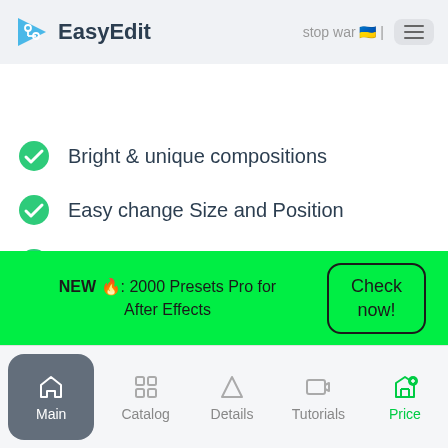EasyEdit  stop war 🇺🇦 | ☰
Bright & unique compositions
Easy change Size and Position
Free updates & Support
All compositions layered in After Effect
NEW 🔥: 2000 Presets Pro for After Effects  Check now!
Main  Catalog  Details  Tutorials  Price